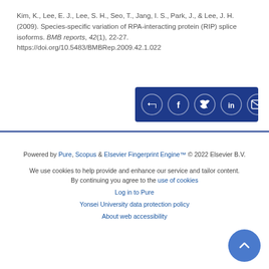Kim, K., Lee, E. J., Lee, S. H., Seo, T., Jang, I. S., Park, J., & Lee, J. H. (2009). Species-specific variation of RPA-interacting protein (RIP) splice isoforms. BMB reports, 42(1), 22-27. https://doi.org/10.5483/BMBRep.2009.42.1.022
[Figure (other): Social share buttons bar with icons for share, Facebook, Twitter, LinkedIn, and email on a dark blue background]
Powered by Pure, Scopus & Elsevier Fingerprint Engine™ © 2022 Elsevier B.V.
We use cookies to help provide and enhance our service and tailor content. By continuing you agree to the use of cookies
Log in to Pure
Yonsei University data protection policy
About web accessibility